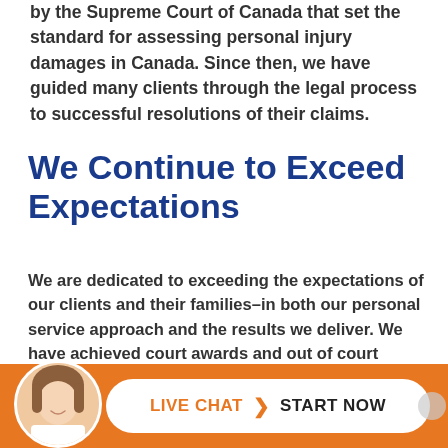by the Supreme Court of Canada that set the standard for assessing personal injury damages in Canada. Since then, we have guided many clients through the legal process to successful resolutions of their claims.
We Continue to Exceed Expectations
We are dedicated to exceeding the expectations of our clients and their families–in both our personal service approach and the results we deliver. We have achieved court awards and out of court settlements from $5 Million (lump sum) to $30 Million (structured settlement)*. We have a reputation for being well prepared and insurance defence counsel take us seriously
[Figure (other): Orange live chat bar at the bottom of the page with a circular avatar photo of a woman on the left and a white pill-shaped button reading LIVE CHAT > START NOW]